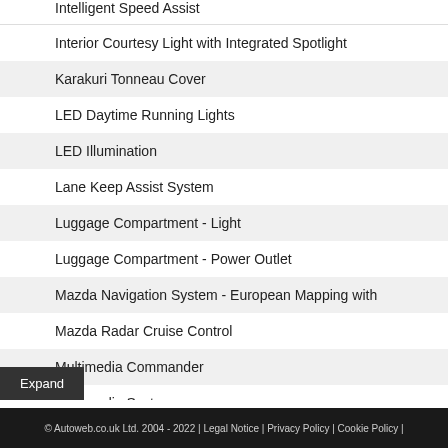Intelligent Speed Assist
Interior Courtesy Light with Integrated Spotlight
Karakuri Tonneau Cover
LED Daytime Running Lights
LED Illumination
Lane Keep Assist System
Luggage Compartment - Light
Luggage Compartment - Power Outlet
Mazda Navigation System - European Mapping with
Mazda Radar Cruise Control
Multimedia Commander
Multimedia System
© Autoweb.co.uk Ltd. 2004 - 2022 | Legal Notice | Privacy Policy | Cookie Policy |